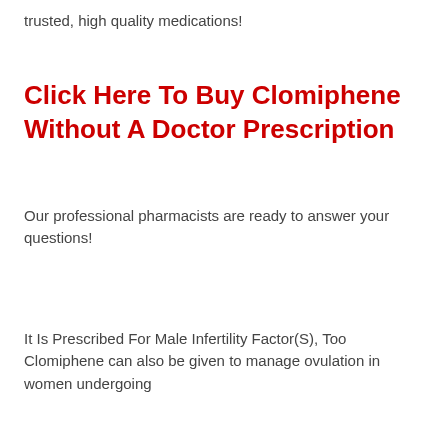trusted, high quality medications!
Click Here To Buy Clomiphene Without A Doctor Prescription
Our professional pharmacists are ready to answer your questions!
It Is Prescribed For Male Infertility Factor(S), Too Clomiphene can also be given to manage ovulation in women undergoing